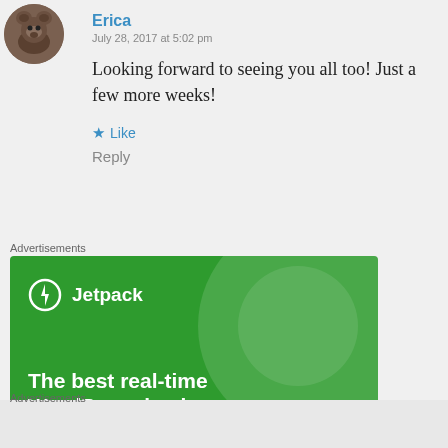[Figure (photo): Circular avatar photo of a bear or animal]
Erica
July 28, 2017 at 5:02 pm
Looking forward to seeing you all too! Just a few more weeks!
★ Like
Reply
Advertisements
[Figure (screenshot): Jetpack advertisement banner — green background with Jetpack logo and text 'The best real-time WordPress backup']
Advertisements